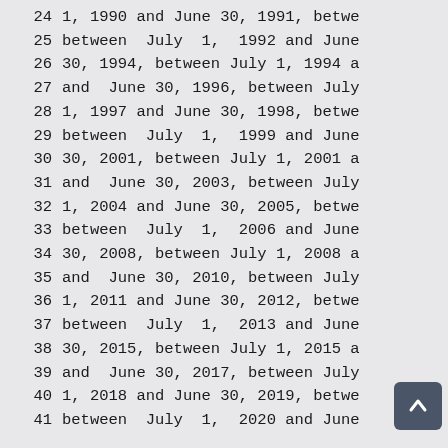24   1, 1990 and June 30, 1991, betwe
25   between  July  1,  1992 and June
26   30, 1994, between July 1, 1994 a
27   and  June 30, 1996, between July
28   1, 1997 and June 30, 1998, betwe
29   between  July  1,  1999 and June
30   30, 2001, between July 1, 2001 a
31   and  June 30, 2003, between July
32   1, 2004 and June 30, 2005, betwe
33   between  July  1,  2006 and June
34   30, 2008, between July 1, 2008 a
35   and  June 30, 2010, between July
36   1, 2011 and June 30, 2012, betwe
37   between  July  1,  2013 and June
38   30, 2015, between July 1, 2015 a
39   and  June 30, 2017, between July
40   1, 2018 and June 30, 2019, betwe
41   between  July  1,  2020 and June